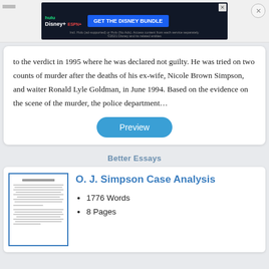[Figure (screenshot): Advertisement banner for Disney Bundle (Hulu, Disney+, ESPN+) with 'GET THE DISNEY BUNDLE' call to action and close button]
to the verdict in 1995 where he was declared not guilty. He was tried on two counts of murder after the deaths of his ex-wife, Nicole Brown Simpson, and waiter Ronald Lyle Goldman, in June 1994. Based on the evidence on the scene of the murder, the police department…
Preview
Better Essays
O. J. Simpson Case Analysis
1776 Words
8 Pages